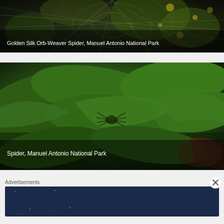[Figure (photo): Golden Silk Orb-Weaver Spider on web at Manuel Antonio National Park, close-up photo with dark background and visible web strands]
Golden Silk Orb-Weaver Spider, Manuel Antonio National Park
[Figure (photo): Spider on green tropical leaves at Manuel Antonio National Park, macro photography showing spider in center of frame surrounded by large green leaves]
Spider, Manuel Antonio National Park
Advertisements
[Figure (screenshot): Advertisement banner with dark blue background reading 'Create surveys, polls, quizzes, and forms.' with WordPress logo and Survey Anyplace badge]